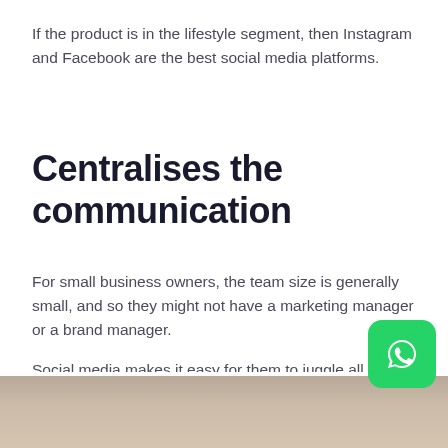If the product is in the lifestyle segment, then Instagram and Facebook are the best social media platforms.
Centralises the communication
For small business owners, the team size is generally small, and so they might not have a marketing manager or a brand manager.
Social media makes it easy for them to juggle all the responsibilities. In addition, it is very easy to put up posts and updates that are liked by people and hence, create a narrative for your brand.
[Figure (photo): Partial photo of a person visible at the bottom of the page]
[Figure (logo): WhatsApp icon button — green rounded square with white phone/chat logo]